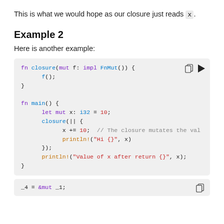This is what we would hope as our closure just reads x.
Example 2
Here is another example:
[Figure (screenshot): Rust code block showing fn closure(mut f: impl FnMut()) { f(); } fn main() { let mut x: i32 = 10; closure(|| { x += 10; // The closure mutates the val println!("Hi {}", x) }); println!("Value of x after return {}", x); } with copy and play icons]
[Figure (screenshot): Rust code snippet: _4 = &mut _1; with copy icon]